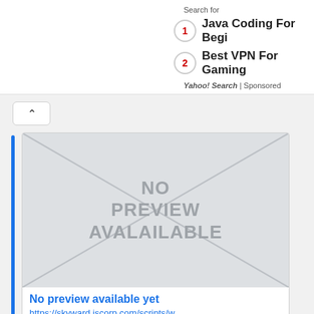Search for
1 Java Coding For Begi...
2 Best VPN For Gaming...
Yahoo! Search | Sponsored
[Figure (screenshot): No preview available placeholder image with diagonal cross lines and text 'NO PREVIEW AVALAILABLE']
No preview available yet
https://skyward.iscorp.com/scripts/wsisa.dll/(Service.wseduhollyoomi/...